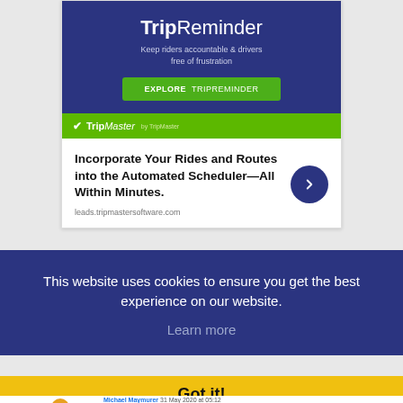[Figure (screenshot): TripReminder advertisement card with dark blue header showing 'TripReminder' title, subtitle 'Keep riders accountable & drivers free of frustration', green 'EXPLORE TripReminder' button, green TripMaster logo bar, and white body with bold headline 'Incorporate Your Rides and Routes into the Automated Scheduler—All Within Minutes.' with a dark blue arrow circle button and URL 'leads.tripmastersoftware.com']
This website uses cookies to ensure you get the best experience on our website.
Learn more
Got it!
Michael Maymurer 31 May 2020 at 05:12